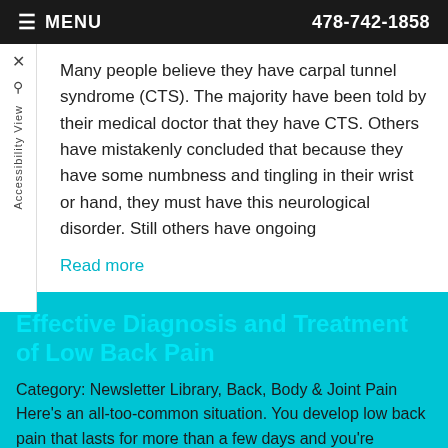MENU   478-742-1858
Many people believe they have carpal tunnel syndrome (CTS). The majority have been told by their medical doctor that they have CTS. Others have mistakenly concluded that because they have some numbness and tingling in their wrist or hand, they must have this neurological disorder. Still others have ongoing
Read more
Effective Diagnosis and Treatment of Low Back Pain
Category: Newsletter Library, Back, Body & Joint Pain
Here's an all-too-common situation. You develop low back pain that lasts for more than a few days and you're uncomfortable enough to go see your primary care physician. He or she tells you it's not clear what's going